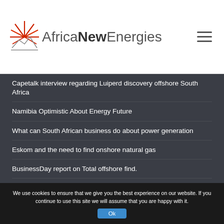Africa New Energies
Capetalk interview regarding Luiperd discovery offshore South Africa
Namibia Optimistic About Energy Future
What can South African business do about power generation
Eskom and the need to find onshore natural gas
BusinessDay report on Total offshore find.
Comment on the economics of the Brulpadda discovery
Abundant mineral resources to ‘turbo-charge’ Namibian economic growth
We use cookies to ensure that we give you the best experience on our website. If you continue to use this site we will assume that you are happy with it.